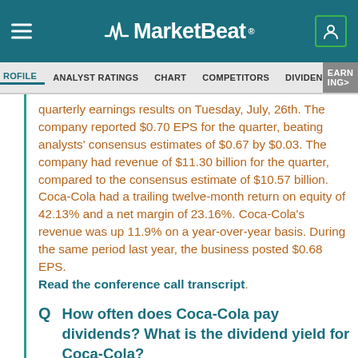MarketBeat
PROFILE   ANALYST RATINGS   CHART   COMPETITORS   DIVIDEND   EARNINGS
quarterly earnings results on Tuesday, July, 26th. The company reported $0.70 EPS for the quarter, beating analysts' consensus estimates of $0.67 by $0.03. The company had revenue of $11.30 billion for the quarter, compared to the consensus estimate of $10.57 billion. Coca-Cola had a trailing twelve-month return on equity of 42.13% and a net margin of 23.16%. Coca-Cola's revenue was up 11.9% on a year-over-year basis. During the same period last year, the business posted $0.68 EPS. Read the conference call transcript.
Q   How often does Coca-Cola pay dividends? What is the dividend yield for Coca-Cola?